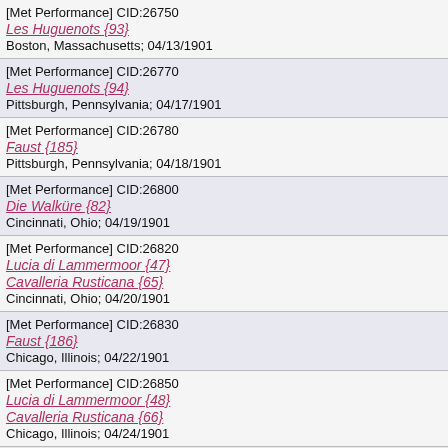[Met Performance] CID:26750
Les Huguenots {93}
Boston, Massachusetts; 04/13/1901
[Met Performance] CID:26770
Les Huguenots {94}
Pittsburgh, Pennsylvania; 04/17/1901
[Met Performance] CID:26780
Faust {185}
Pittsburgh, Pennsylvania; 04/18/1901
[Met Performance] CID:26800
Die Walküre {82}
Cincinnati, Ohio; 04/19/1901
[Met Performance] CID:26820
Lucia di Lammermoor {47}
Cavalleria Rusticana {65}
Cincinnati, Ohio; 04/20/1901
[Met Performance] CID:26830
Faust {186}
Chicago, Illinois; 04/22/1901
[Met Performance] CID:26850
Lucia di Lammermoor {48}
Cavalleria Rusticana {66}
Chicago, Illinois; 04/24/1901
[Met Performance] CID:26870
Les Huguenots {95}
Chicago, Illinois; 04/25/1901
[Met Concert/Gala] CID:27000
Farewell Performance of GRAND OPERA
Metropolitan Opera House; 04/29/1901